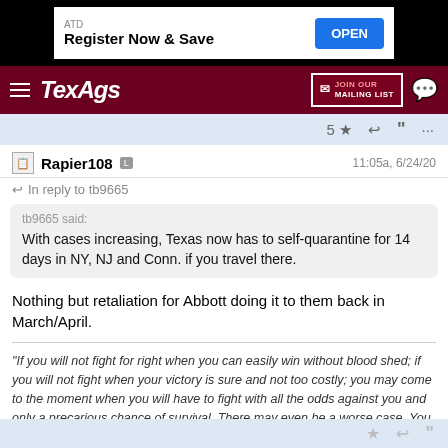[Figure (screenshot): Advertisement banner: ATD Register Now & Save with OPEN button]
TexAgs — JOIN OUR MAILING LIST
5 ★ reply quote ...
Rapier108 L    11:05a, 6/24/20
← In reply to tb9665
tb9665 said: With cases increasing, Texas now has to self-quarantine for 14 days in NY, NJ and Conn. if you travel there.
Nothing but retaliation for Abbott doing it to them back in March/April.
"If you will not fight for right when you can easily win without blood shed; if you will not fight when your victory is sure and not too costly; you may come to the moment when you will have to fight with all the odds against you and only a precarious chance of survival. There may even be a worse case. You may have to fight when there is no hope of victory, because it is better to perish than to live as slaves." - Sir Winston Churchill